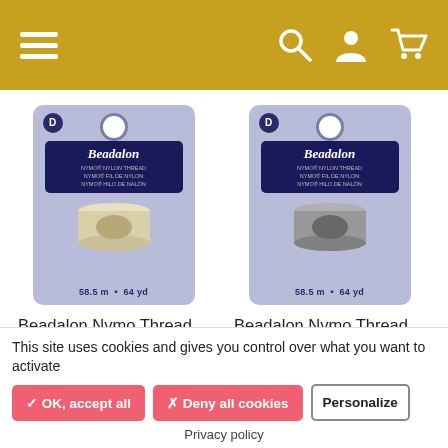Navigation header with menu, search, account, and cart icons
[Figure (photo): Beadalon Nymo Thread Size D 64 yd. product package - cream/white color spool on blue-purple blister card]
Beadalon Nymo Thread
Size D 64 yd.
[Figure (photo): Beadalon Nymo Thread Size D 64 yd. product package - gray color spool on blue-purple blister card]
Beadalon Nymo Thread
Size D 64 yd.
This site uses cookies and gives you control over what you want to activate
✓ OK, accept all
✗ Deny all cookies
Personalize
Privacy policy